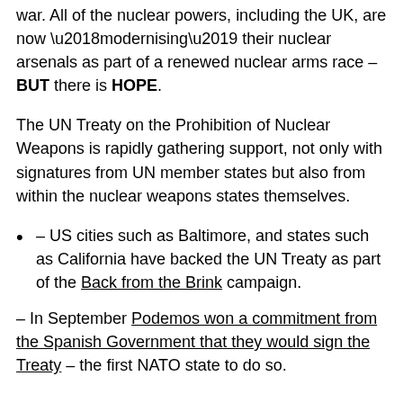war. All of the nuclear powers, including the UK, are now ‘modernising’ their nuclear arsenals as part of a renewed nuclear arms race – BUT there is HOPE.
The UN Treaty on the Prohibition of Nuclear Weapons is rapidly gathering support, not only with signatures from UN member states but also from within the nuclear weapons states themselves.
– US cities such as Baltimore, and states such as California have backed the UN Treaty as part of the Back from the Brink campaign.
– In September Podemos won a commitment from the Spanish Government that they would sign the Treaty – the first NATO state to do so.